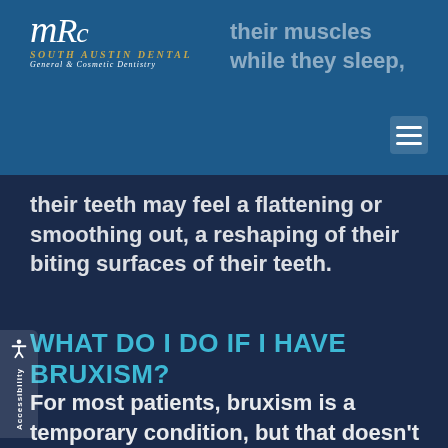MRC South Austin Dental - General & Cosmetic Dentistry
their teeth may feel a flattening or smoothing out, a reshaping of their biting surfaces of their teeth.
WHAT DO I DO IF I HAVE BRUXISM?
For most patients, bruxism is a temporary condition, but that doesn't mean they shouldn't act. If you feel the symptoms of bruxism, wearing a